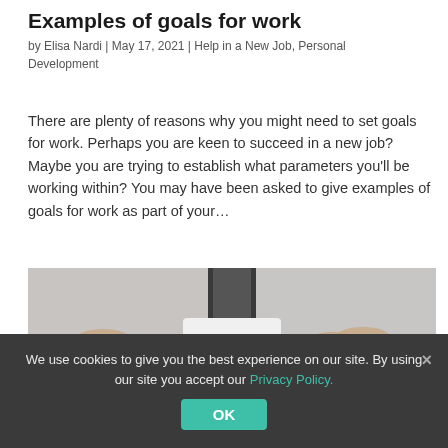Examples of goals for work
by Elisa Nardi | May 17, 2021 | Help in a New Job, Personal Development
There are plenty of reasons why you might need to set goals for work. Perhaps you are keen to succeed in a new job?  Maybe you are trying to establish what parameters you'll be working within? You may have been asked to give examples of goals for work as part of your…
[Figure (photo): Two hands holding a white device from both sides, with two small black dots visible on the device, against a light blurred background.]
We use cookies to give you the best experience on our site. By using our site you accept our Privacy Policy.
OK